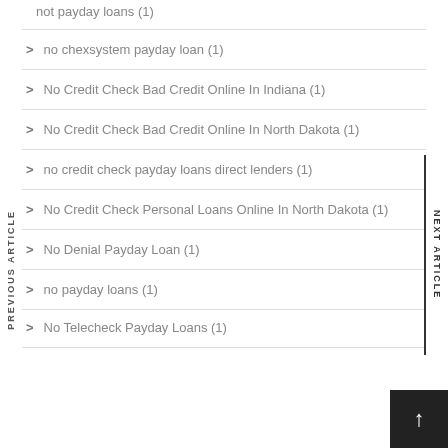not payday loans (1)
no chexsystem payday loan (1)
No Credit Check Bad Credit Online In Indiana (1)
No Credit Check Bad Credit Online In North Dakota (1)
no credit check payday loans direct lenders (1)
No Credit Check Personal Loans Online In North Dakota (1)
No Denial Payday Loan (1)
no payday loans (1)
No Telecheck Payday Loans (1)